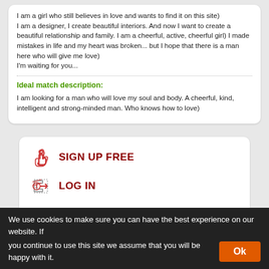I am a girl who still believes in love and wants to find it on this site)
I am a designer, I create beautiful interiors. And now I want to create a beautiful relationship and family. I am a cheerful, active, cheerful girl) I made mistakes in life and my heart was broken... but I hope that there is a man here who will give me love)
I'm waiting for you...
Ideal match description:
I am looking for a man who will love my soul and body. A cheerful, kind, intelligent and strong-minded man. Who knows how to love)
SIGN UP FREE
LOG IN
SEND GIFT OR FLOWERS
SEND MESSAGE
SEND A SMILE
We use cookies to make sure you can have the best experience on our website. If you continue to use this site we assume that you will be happy with it. Ok